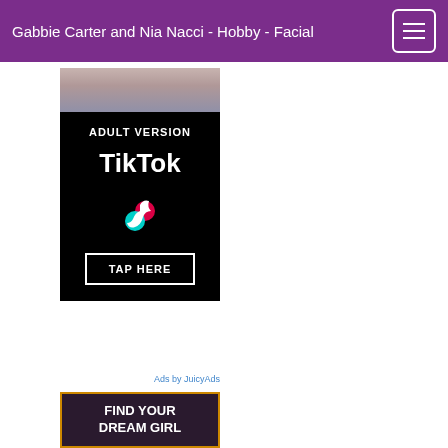Gabbie Carter and Nia Nacci - Hobby - Facial
[Figure (screenshot): Adult TikTok advertisement banner with black background, showing 'ADULT VERSION' text, TikTok logo and music note icon in teal/red colors, and a 'TAP HERE' button with white border]
Ads by JuicyAds
[Figure (screenshot): Second advertisement banner with dark purple background and gold border showing 'FIND YOUR DREAM GIRL' text]